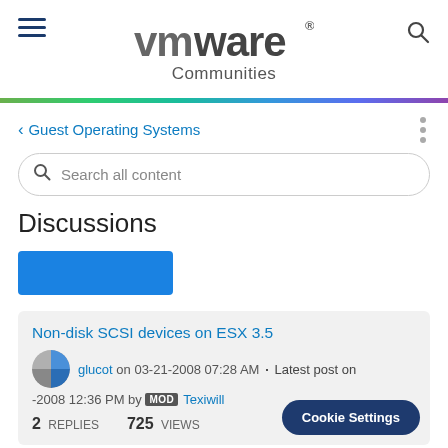VMware Communities
Guest Operating Systems
Search all content
Discussions
Non-disk SCSI devices on ESX 3.5
glucot on 03-21-2008 07:28 AM . Latest post on -2008 12:36 PM by MOD Texiwill
2 REPLIES 725 VIEWS